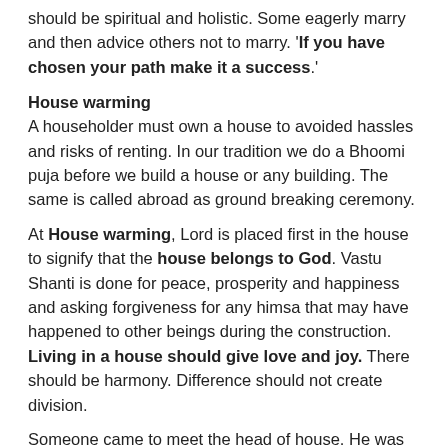should be spiritual and holistic. Some eagerly marry and then advice others not to marry. 'If you have chosen your path make it a success.'
House warming
A householder must own a house to avoided hassles and risks of renting. In our tradition we do a Bhoomi puja before we build a house or any building. The same is called abroad as ground breaking ceremony.
At House warming, Lord is placed first in the house to signify that the house belongs to God. Vastu Shanti is done for peace, prosperity and happiness and asking forgiveness for any himsa that may have happened to other beings during the construction. Living in a house should give love and joy. There should be harmony. Difference should not create division.
Someone came to meet the head of house. He was told to come after a week as it was still under discussion. After 1